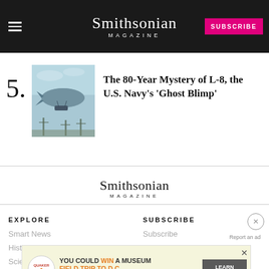Smithsonian Magazine | SUBSCRIBE
5. The 80-Year Mystery of L-8, the U.S. Navy's 'Ghost Blimp'
[Figure (photo): Black and white/tinted photograph of a blimp in the sky above utility poles]
[Figure (logo): Smithsonian Magazine logo in footer]
EXPLORE
SUBSCRIBE
Smart News
History
Science
Innovation
Subscribe
Report an ad
[Figure (photo): Advertisement: Quaker Museum Day - YOU COULD WIN A MUSEUM FIELD TRIP TO D.C. LEARN MORE. NO PURCHASE NECESSARY. ENDS 9/14/22. SEE WEBSITE FOR DETAILS AND OFFICIAL RULES.]